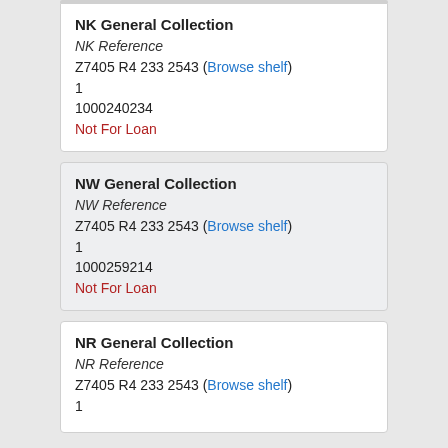NK General Collection
NK Reference
Z7405 R4 ＿＿＿233 2543 (Browse shelf)
1
1000240234
Not For Loan
NW General Collection
NW Reference
Z7405 R4 ＿＿＿233 2543 (Browse shelf)
1
1000259214
Not For Loan
NR General Collection
NR Reference
Z7405 R4 ＿＿＿233 2543 (Browse shelf)
1